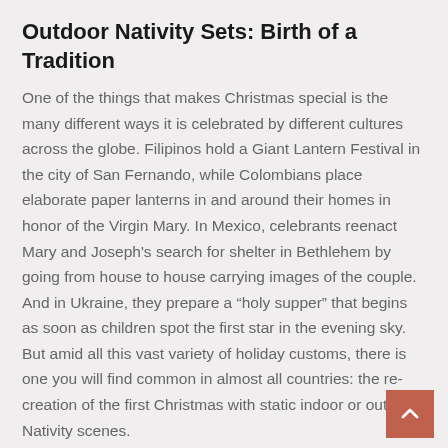Outdoor Nativity Sets: Birth of a Tradition
One of the things that makes Christmas special is the many different ways it is celebrated by different cultures across the globe. Filipinos hold a Giant Lantern Festival in the city of San Fernando, while Colombians place elaborate paper lanterns in and around their homes in honor of the Virgin Mary. In Mexico, celebrants reenact Mary and Joseph’s search for shelter in Bethlehem by going from house to house carrying images of the couple. And in Ukraine, they prepare a “holy supper” that begins as soon as children spot the first star in the evening sky. But amid all this vast variety of holiday customs, there is one you will find common in almost all countries: the recreation of the first Christmas with static indoor or outdoor Nativity scenes.
Ever since Saint Francis of Assisi—inspired by a trip to the Holy Land—staged the first true celebratory “Nativity...